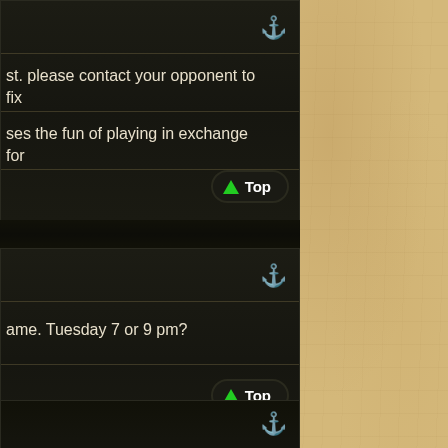[Figure (screenshot): Dark-themed game forum/messaging interface showing three card sections on the left with text messages and anchor icons, 'Top' navigation buttons with green arrows, and a parchment-textured panel on the right. Card 1 text: 'st. please contact your opponent to fix' and 'ses the fun of playing in exchange for'. Card 2 text: 'ame. Tuesday 7 or 9 pm?'. Card 3 shows anchor icon only.]